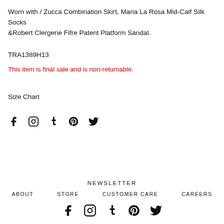Worn with / Zucca Combination Skirt, Maria La Rosa Mid-Calf Silk Socks &Robert Clergerie Fifre Patent Platform Sandal.
TRA1389H13
This item is final sale and is non-returnable.
Size Chart
[Figure (illustration): Social media icons row (Facebook, Instagram, Tumblr, Pinterest, Twitter) in black]
NEWSLETTER
ABOUT   STORE   CUSTOMER CARE   CAREERS
[Figure (illustration): Social media icons row (Facebook, Instagram, Tumblr, Pinterest, Twitter) in black, larger size]